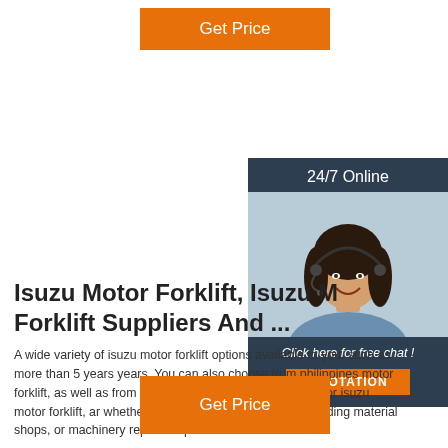[Figure (other): Orange 'Get Price' button at top]
[Figure (other): Sidebar with '24/7 Online' label, photo of woman with headset, 'Click here for free chat!' text, and orange QUOTATION button on dark navy background]
Isuzu Motor Forklift, Isuzu M Forklift Suppliers And ...
A wide variety of isuzu motor forklift options available to you, such as more than 5 years years. You can also choose from philippines motor forklift, as well as from ac motor, dies engine, and dc motor isuzu motor forklift, ar whether isuzu motor forklift is hotels, building material shops, or machinery repair shops.
[Figure (other): Orange 'Get Price' button at bottom]